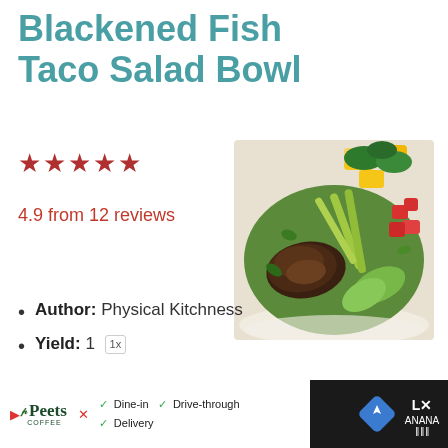Blackened Fish Taco Salad Bowl
★★★★★
4.9 from 12 reviews
[Figure (photo): A bowl of blackened fish taco salad with mango, greens, tomatoes, avocado, and green onions]
Author: Physical Kitchness
Yield: 1 1x
[Figure (screenshot): Advertisement bar at bottom: Peet's Coffee ad with Dine-in, Drive-through, Delivery options and navigation icons]